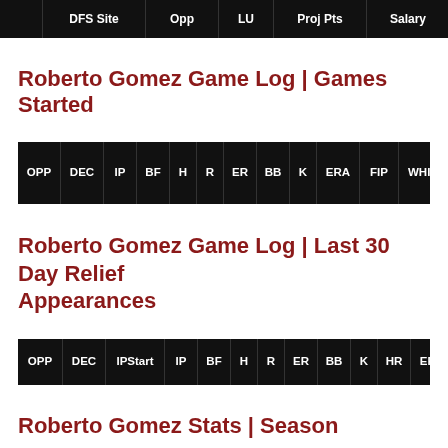| DFS Site | Opp | LU | Proj Pts | Salary | $/pt |
| --- | --- | --- | --- | --- | --- |
Roberto Gomez Game Log | Games Started
| OPP | DEC | IP | BF | H | R | ER | BB | K | ERA | FIP | WHIP | BABIP | HR | Proj $ | A$ |
| --- | --- | --- | --- | --- | --- | --- | --- | --- | --- | --- | --- | --- | --- | --- | --- |
Roberto Gomez Game Log | Last 30 Day Relief Appearances
| OPP | DEC | IPStart | IP | BF | H | R | ER | BB | K | HR | ERA | FIP | WHIP | $ |
| --- | --- | --- | --- | --- | --- | --- | --- | --- | --- | --- | --- | --- | --- | --- |
Roberto Gomez Stats | Season
Roberto Gomez stats and 5x5 fantasy value from 2013-2022.